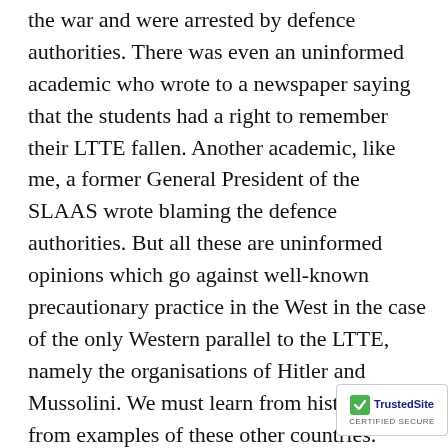the war and were arrested by defence authorities. There was even an uninformed academic who wrote to a newspaper saying that the students had a right to remember their LTTE fallen. Another academic, like me, a former General President of the SLAAS wrote blaming the defence authorities. But all these are uninformed opinions which go against well-known precautionary practice in the West in the case of the only Western parallel to the LTTE, namely the organisations of Hitler and Mussolini. We must learn from history and from examples of these other countries.
The Nazis had brainwashed the entire German population on its racist ideology, demanded special exclusive areas (Lebensraum) parallel to the invented Tamil traditional homelands and mastered their signature salute which the